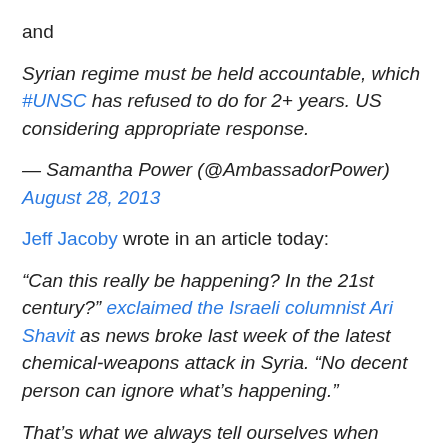and
Syrian regime must be held accountable, which #UNSC has refused to do for 2+ years. US considering appropriate response.
— Samantha Power (@AmbassadorPower) August 28, 2013
Jeff Jacoby wrote in an article today:
“Can this really be happening? In the 21st century?” exclaimed the Israeli columnist Ari Shavit as news broke last week of the latest chemical-weapons attack in Syria. “No decent person can ignore what’s happening.”
That’s what we always tell ourselves when “never again” turns into “yet again.” But man’s inhumanity to man is no